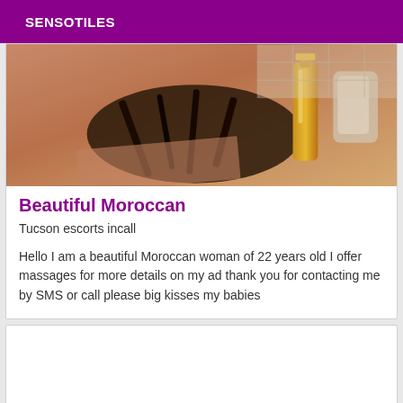SENSOTILES
[Figure (photo): Photo showing massage/beauty items on a surface - oils, brushes, cosmetics, warm tones of brown, orange and gold]
Beautiful Moroccan
Tucson escorts incall
Hello I am a beautiful Moroccan woman of 22 years old I offer massages for more details on my ad thank you for contacting me by SMS or call please big kisses my babies